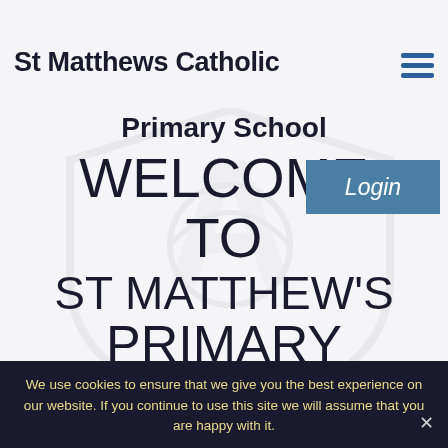St Matthews Catholic
Primary School
WELCOME TO ST MATTHEW'S PRIMARY All are Welcome!
Login
We use cookies to ensure that we give you the best experience on our website. If you continue to use this site we will assume that you are happy with it.